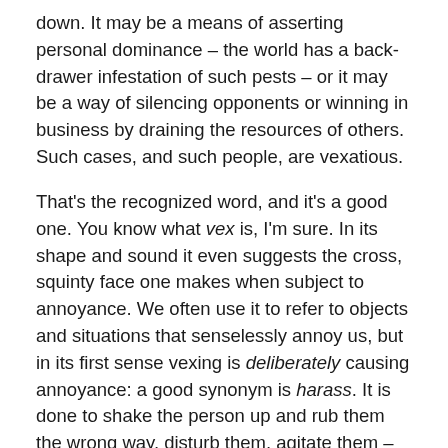down. It may be a means of asserting personal dominance – the world has a back-drawer infestation of such pests – or it may be a way of silencing opponents or winning in business by draining the resources of others. Such cases, and such people, are vexatious.
That's the recognized word, and it's a good one. You know what vex is, I'm sure. In its shape and sound it even suggests the cross, squinty face one makes when subject to annoyance. We often use it to refer to objects and situations that senselessly annoy us, but in its first sense vexing is deliberately causing annoyance: a good synonym is harass. It is done to shake the person up and rub them the wrong way, disturb them, agitate them – that's what Latin vexare means. It is most likely related to vehere, which means 'carry', which we see in convey and convoy and also in vexillary 'of or relating to flags'.